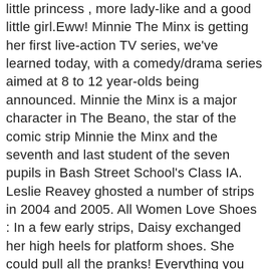little princess , more lady-like and a good little girl.Eww! Minnie The Minx is getting her first live-action TV series, we've learned today, with a comedy/drama series aimed at 8 to 12 year-olds being announced. Minnie the Minx is a major character in The Beano, the star of the comic strip Minnie the Minx and the seventh and last student of the seven pupils in Bash Street School's Class IA. Leslie Reavey ghosted a number of strips in 2004 and 2005. All Women Love Shoes : In a few early strips, Daisy exchanged her high heels for platform shoes. She could pull all the pranks! Everything you need to know about Minnie the Minx. Character » Minnie the Minx appears in 1152 issues. Navigation. We have this great Minnie the Minx costume. Character Wiki. Pie-Face's name was actually Keith. See more ideas about Minnie, Dennis the menace, Party bag toys. Minnie the Minx – Minnie Apples is the 9th episode in Season 2 Plot Minnie says that it was a beautiful day, the sun is shining and the apples are red